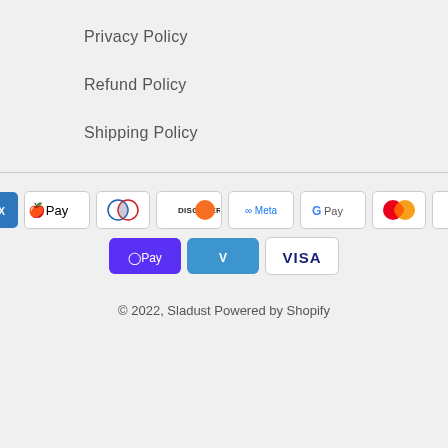Privacy Policy
Refund Policy
Shipping Policy
[Figure (other): Payment method icons: American Express, Apple Pay, Diners Club, Discover, Meta Pay, Google Pay, Mastercard, PayPal, Shop Pay, Venmo, Visa]
© 2022, Sladust Powered by Shopify